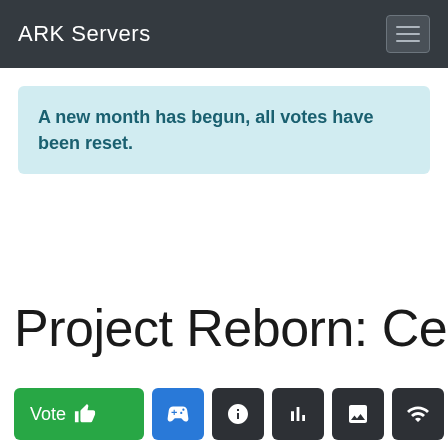ARK Servers
A new month has begun, all votes have been reset.
Project Reborn: Center
[Figure (screenshot): Action buttons row: Vote (green), gamepad icon (blue), info icon (dark), bar chart icon (dark), image icon (dark), signal bars icon (dark)]